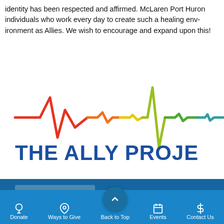identity has been respected and affirmed. McLaren Port Huron individuals who work every day to create such a healing environment as Allies. We wish to encourage and expand upon this!
[Figure (logo): The Ally Project logo: a rainbow-colored EKG/heartbeat line in red, orange, yellow, green, teal colors above bold blue text reading 'THE ALLY PROJECT']
Donate | Ways to Give | Back to Top | Events | Contact Us